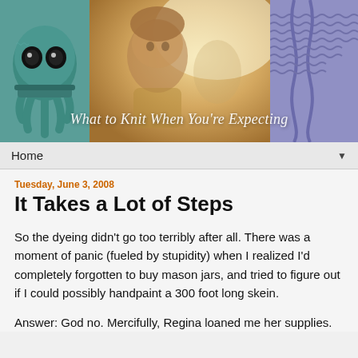[Figure (photo): Blog header banner composed of three panels: left panel shows a teal/green knitted octopus toy with black button eyes; center panel shows a young child (toddler) with wavy hair looking upward in warm golden light; right panel shows a close-up of a purple/lavender knitted garment. White italic text overlay reads 'What to Knit When You're Expecting'.]
Home ▼
Tuesday, June 3, 2008
It Takes a Lot of Steps
So the dyeing didn't go too terribly after all. There was a moment of panic (fueled by stupidity) when I realized I'd completely forgotten to buy mason jars, and tried to figure out if I could possibly handpaint a 300 foot long skein.
Answer: God no. Mercifully, Regina loaned me her supplies.